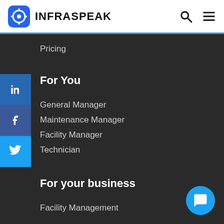INFRASPEAK
Pricing
For You
General Manager
Maintenance Manager
Facility Manager
Technician
For your business
Facility Management
Hotels